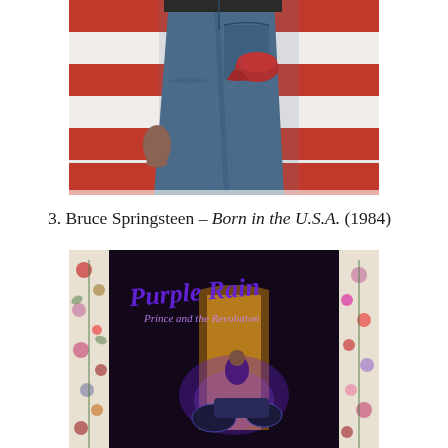[Figure (photo): Album cover of Bruce Springsteen – Born in the U.S.A. (1984), showing a man from behind in jeans with a red cap in back pocket, in front of an American flag]
3. Bruce Springsteen – Born in the U.S.A. (1984)
[Figure (photo): Album cover of Prince and the Revolution – Purple Rain (1984), showing purple cursive title text over a dark scene with Prince on a motorcycle surrounded by floral decorations]